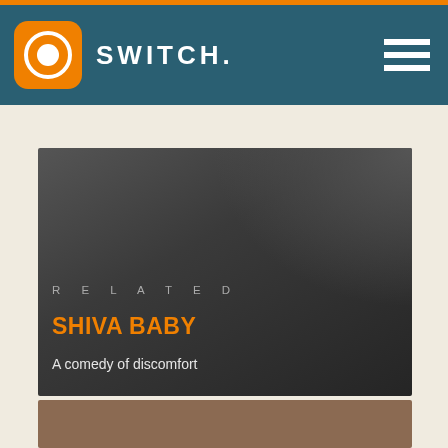SWITCH.
[Figure (screenshot): Dark gradient movie card with RELATED label, orange bold title SHIVA BABY, and subtitle A comedy of discomfort]
SHIVA BABY
A comedy of discomfort
[Figure (photo): Brown/tan colored card at bottom, partial view]